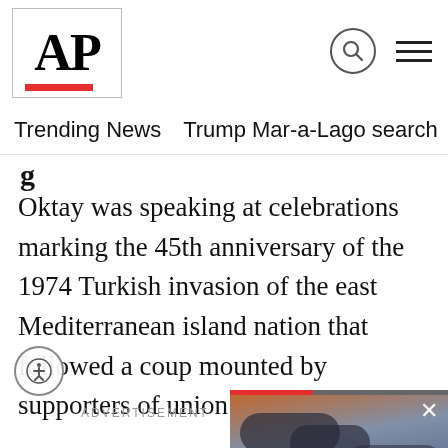AP
Trending News   Trump Mar-a-Lago search   Student loans   U.S.
Oktay was speaking at celebrations marking the 45th anniversary of the 1974 Turkish invasion of the east Mediterranean island nation that followed a coup mounted by supporters of union with Greece.
ADVERTISEMENT
[Figure (screenshot): Video player overlay showing sky/clouds background with playback controls (pause and mute icons), a red progress bar at top, a close (X) button, and a caption reading 'NASA scrubs launch of new mo... rocket after engin...']
In a letter to the Turkish Cypriot leaders commemorating the anniversary, Turkish President Recep Tayyip Erdogan said his mili...